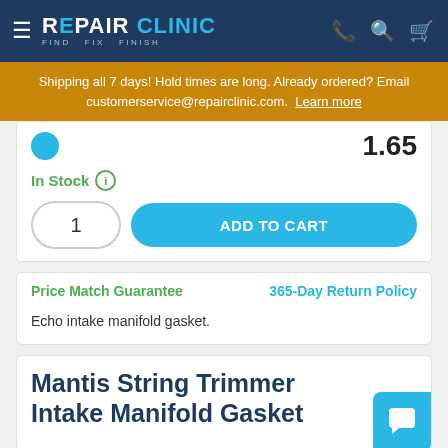REPAIR CLINIC — FIND FIX FINISH
Shipping all 7 days! Hold times are long. Already ordered? Email customerservice@repairclinic.com. Learn more
1.65
In Stock
1
ADD TO CART
Price Match Guarantee
365-Day Return Policy
Echo intake manifold gasket.
Mantis String Trimmer Intake Manifold Gasket